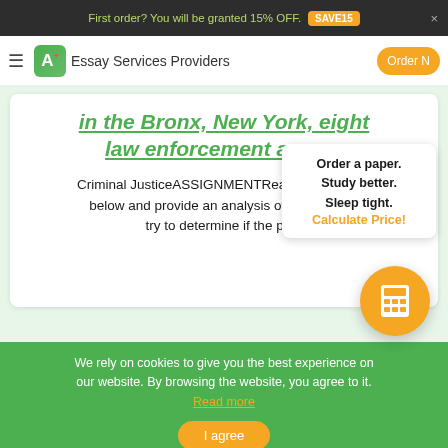First order? You will be granted 15% OFF. SAVE15 ×
Essay Services Providers | Order N
in the Bronx, New York, eight law enforcement agen...
Criminal JusticeASSIGNMENTRead the passage below and provide an analysis of the scena... try to determine if the pe...
Order a paper. Study better. Sleep tight. Calculate Price!
We rely on cookies to give you the best experience on our website. By browsing the website, you agree to it. Read more
I agree